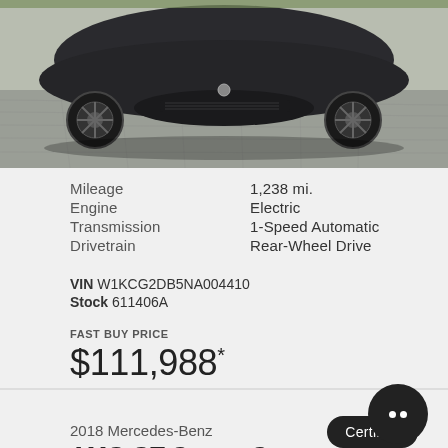[Figure (photo): Front view of a dark-colored luxury car (likely Mercedes-Benz EQS) photographed from above on a paved surface, showing the hood and front grille with a distinctive wheel design visible]
| Mileage | 1,238 mi. |
| Engine | Electric |
| Transmission | 1-Speed Automatic |
| Drivetrain | Rear-Wheel Drive |
VIN W1KCG2DB5NA004410
Stock 611406A
FAST BUY PRICE
$111,988*
Certified
2018 Mercedes-Benz
AMG GT Coupe C
[Figure (photo): Partial view of a Mercedes-Benz AMG GT Coupe C, partially visible at the bottom of the page]